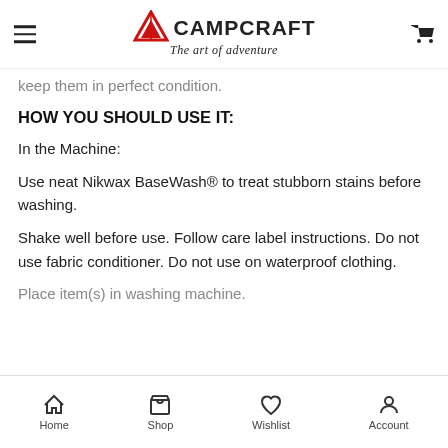CAMPCRAFT — The art of adventure
keep them in perfect condition.
HOW YOU SHOULD USE IT:
In the Machine:
Use neat Nikwax BaseWash® to treat stubborn stains before washing.
Shake well before use. Follow care label instructions. Do not use fabric conditioner. Do not use on waterproof clothing.
Place item(s) in washing machine.
Home | Shop | Wishlist | Account